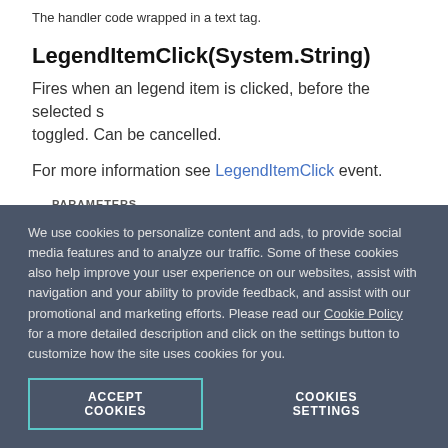The handler code wrapped in a text tag.
LegendItemClick(System.String)
Fires when an legend item is clicked, before the selected state is toggled. Can be cancelled.
For more information see LegendItemClick event.
PARAMETERS
handler - System.String
The name of the JavaScript function that will handle the legen...
We use cookies to personalize content and ads, to provide social media features and to analyze our traffic. Some of these cookies also help improve your user experience on our websites, assist with navigation and your ability to provide feedback, and assist with our promotional and marketing efforts. Please read our Cookie Policy for a more detailed description and click on the settings button to customize how the site uses cookies for you.
ACCEPT COOKIES
COOKIES SETTINGS